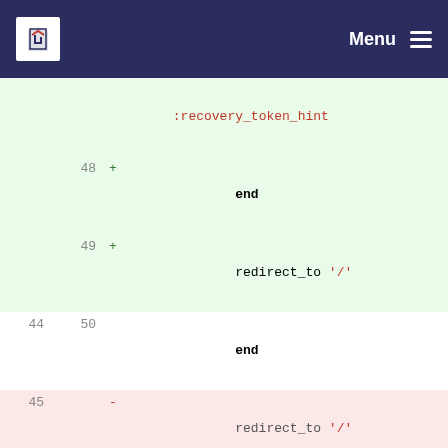Menu
[Figure (screenshot): Code diff showing Ruby on Rails SessionsController changes, with added lines (green) and removed lines (red), line numbers on both sides, and a navigation header with logo and menu.]